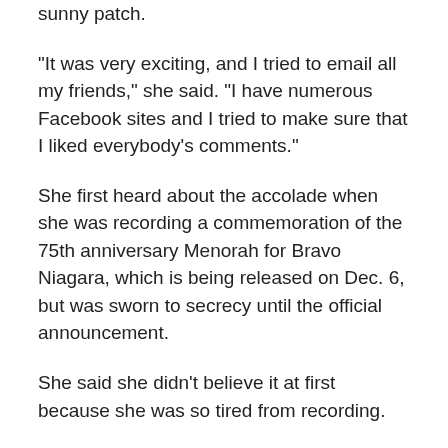sunny patch.
“It was very exciting, and I tried to email all my friends,” she said. “I have numerous Facebook sites and I tried to make sure that I liked everybody’s comments.”
She first heard about the accolade when she was recording a commemoration of the 75th anniversary Menorah for Bravo Niagara, which is being released on Dec. 6, but was sworn to secrecy until the official announcement.
She said she didn’t believe it at first because she was so tired from recording.
“I do a lot of adjudicating for emerging artists, so I didn’t even read the rest of the subject line, and they said,